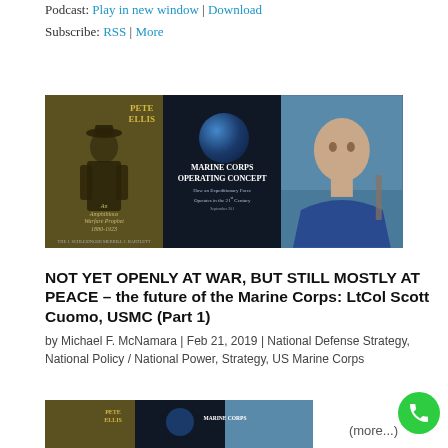Podcast: Play in new window | Download
Subscribe: RSS | More
[Figure (photo): Composite image showing three panels: left panel is a book cover for 'Pete Ellis: An Amphibious Warfare Prophet 1880-1923', middle panel shows 'Marine Corps Operating Concept' document cover with a globe, right panel shows a bald man in a blue shirt against a blue background.]
NOT YET OPENLY AT WAR, BUT STILL MOSTLY AT PEACE – the future of the Marine Corps: LtCol Scott Cuomo, USMC (Part 1)
by Michael F. McNamara | Feb 21, 2019 | National Defense Strategy, National Policy / National Power, Strategy, US Marine Corps
[Figure (photo): Partial image at bottom, same composite as above showing Pete Ellis book cover and Marine Corps Operating Concept document.]